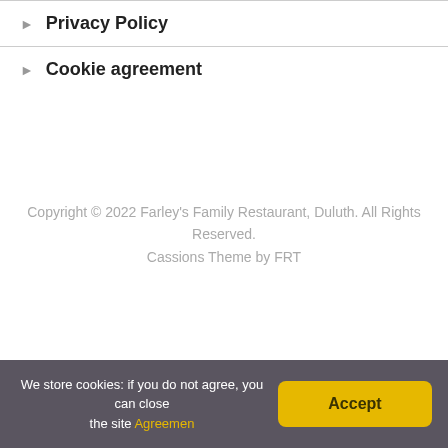Privacy Policy
Cookie agreement
Copyright © 2022 Farley's Family Restaurant, Duluth. All Rights Reserved.
Cassions Theme by FRT
We store cookies: if you do not agree, you can close the site Agreemen
Accept